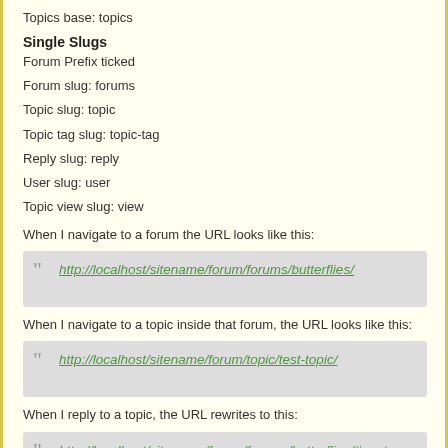Topics base: topics
Single Slugs
Forum Prefix ticked
Forum slug: forums
Topic slug: topic
Topic tag slug: topic-tag
Reply slug: reply
User slug: user
Topic view slug: view
When I navigate to a forum the URL looks like this:
[Figure (other): Blockquote box containing URL: http://localhost/sitename/forum/forums/butterflies/]
When I navigate to a topic inside that forum, the URL looks like this:
[Figure (other): Blockquote box containing URL: http://localhost/sitename/forum/topic/test-topic/]
When I reply to a topic, the URL rewrites to this:
[Figure (other): Blockquote box containing URL: http://localhost/sitename/forum/forums/butterflies/#post-158277]